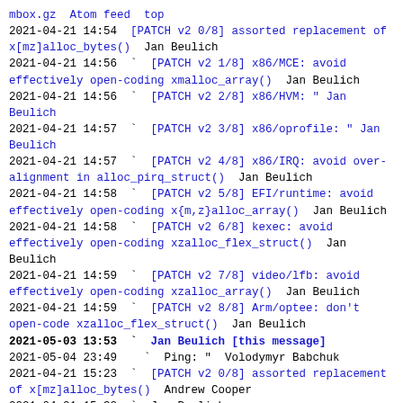mbox.gz  Atom feed  top
2021-04-21 14:54  [PATCH v2 0/8] assorted replacement of x[mz]alloc_bytes()  Jan Beulich
2021-04-21 14:56  `  [PATCH v2 1/8] x86/MCE: avoid effectively open-coding xmalloc_array()  Jan Beulich
2021-04-21 14:56  `  [PATCH v2 2/8] x86/HVM: " Jan Beulich
2021-04-21 14:57  `  [PATCH v2 3/8] x86/oprofile: " Jan Beulich
2021-04-21 14:57  `  [PATCH v2 4/8] x86/IRQ: avoid over-alignment in alloc_pirq_struct()  Jan Beulich
2021-04-21 14:58  `  [PATCH v2 5/8] EFI/runtime: avoid effectively open-coding x{m,z}alloc_array()  Jan Beulich
2021-04-21 14:58  `  [PATCH v2 6/8] kexec: avoid effectively open-coding xzalloc_flex_struct()  Jan Beulich
2021-04-21 14:59  `  [PATCH v2 7/8] video/lfb: avoid effectively open-coding xzalloc_array()  Jan Beulich
2021-04-21 14:59  `  [PATCH v2 8/8] Arm/optee: don't open-code xzalloc_flex_struct()  Jan Beulich
2021-05-03 13:53  `  Jan Beulich [this message]
2021-05-04 23:49    `  Ping: " Volodymyr Babchuk
2021-04-21 15:23  `  [PATCH v2 0/8] assorted replacement of x[mz]alloc_bytes()  Andrew Cooper
2021-04-21 15:32  `  Jan Beulich
2021-04-23  9:44  `  Jan Beulich
Reply instructions: